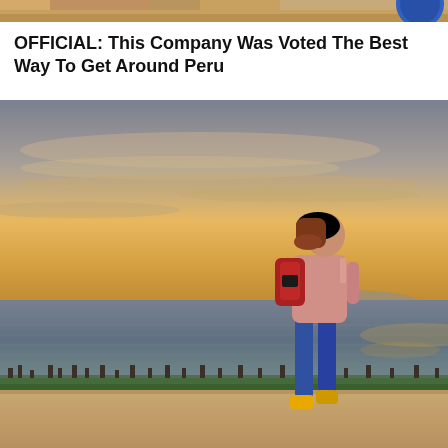[Figure (photo): Top partial image showing a cropped scene with sandy/warm colors and a dark blue circular element on the right edge]
OFFICIAL: This Company Was Voted The Best Way To Get Around Peru
[Figure (photo): A young woman with red hair wearing a pink shirt, blue jeans, yellow boots, and a red/dark backpack, walking along a sandy beach path with wooden posts and greenery, with a calm sea and a warm sunset sky in the background]